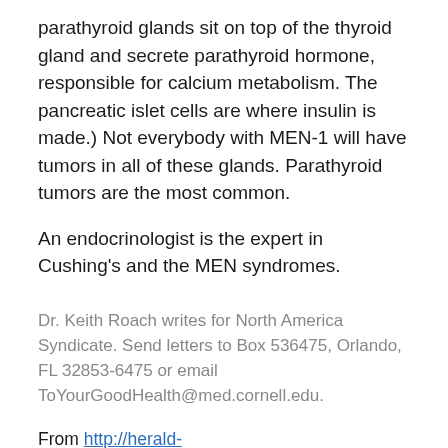parathyroid glands sit on top of the thyroid gland and secrete parathyroid hormone, responsible for calcium metabolism. The pancreatic islet cells are where insulin is made.) Not everybody with MEN-1 will have tumors in all of these glands. Parathyroid tumors are the most common.
An endocrinologist is the expert in Cushing's and the MEN syndromes.
Dr. Keith Roach writes for North America Syndicate. Send letters to Box 536475, Orlando, FL 32853-6475 or email ToYourGoodHealth@med.cornell.edu.
From http://herald-review.com/news/opinion/editorial/columnists/roach/dr-keith-roach-tooth-grinding-is-common-in-the